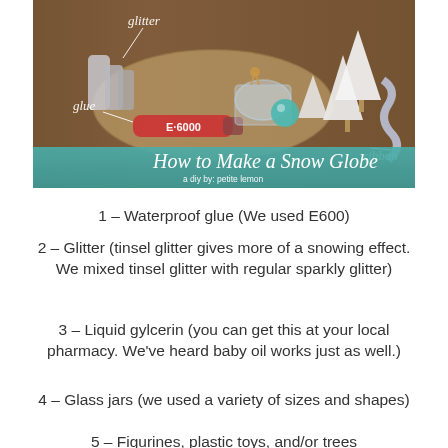[Figure (photo): Photo showing craft supplies for making a snow globe on a wooden surface: glitter containers, glue (E-6000 tube), glass jars, white bottle brush trees, ribbon, and small figurines. Text annotations in white handwriting label 'glitter', 'glue', and 'ribbon'. A teal banner at the bottom reads 'How to Make a Snow Globe - a diy by: petite lemon'.]
1 – Waterproof glue (We used E600)
2 – Glitter (tinsel glitter gives more of a snowing effect. We mixed tinsel glitter with regular sparkly glitter)
3 – Liquid gylcerin (you can get this at your local pharmacy. We've heard baby oil works just as well.)
4 – Glass jars (we used a variety of sizes and shapes)
5 – Figurines, plastic toys, and/or trees